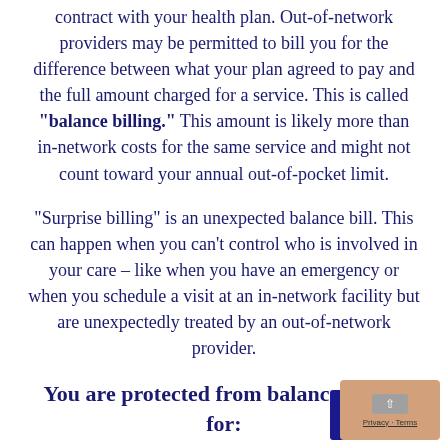contract with your health plan. Out-of-network providers may be permitted to bill you for the difference between what your plan agreed to pay and the full amount charged for a service. This is called "balance billing." This amount is likely more than in-network costs for the same service and might not count toward your annual out-of-pocket limit.
“Surprise billing” is an unexpected balance bill. This can happen when you can’t control who is involved in your care – like when you have an emergency or when you schedule a visit at an in-network facility but are unexpectedly treated by an out-of-network provider.
You are protected from balance billing for: